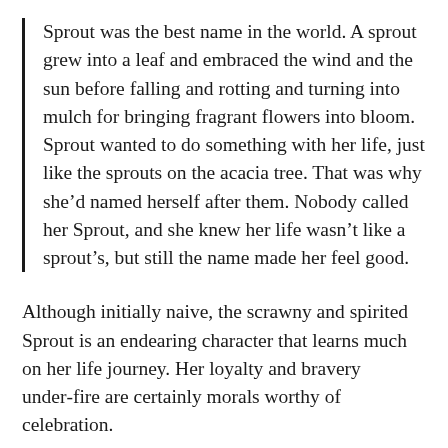Sprout was the best name in the world. A sprout grew into a leaf and embraced the wind and the sun before falling and rotting and turning into mulch for bringing fragrant flowers into bloom. Sprout wanted to do something with her life, just like the sprouts on the acacia tree. That was why she'd named herself after them. Nobody called her Sprout, and she knew her life wasn't like a sprout's, but still the name made her feel good.
Although initially naive, the scrawny and spirited Sprout is an endearing character that learns much on her life journey. Her loyalty and bravery under-fire are certainly morals worthy of celebration.
Some western readers have baulked at The Hen Who Dreamed She Could Fly's focus on value realisation through motherhood. And as someone who finds it